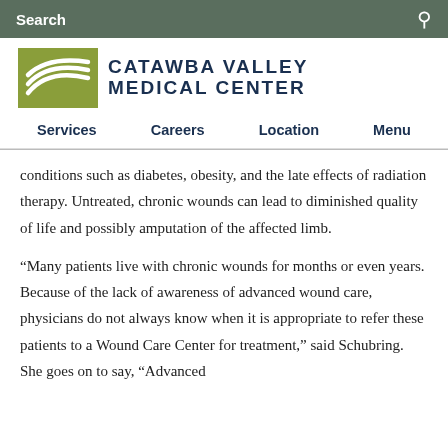Search
[Figure (logo): Catawba Valley Medical Center logo with green wave icon and dark blue text]
Services | Careers | Location | Menu
conditions such as diabetes, obesity, and the late effects of radiation therapy. Untreated, chronic wounds can lead to diminished quality of life and possibly amputation of the affected limb.
“Many patients live with chronic wounds for months or even years. Because of the lack of awareness of advanced wound care, physicians do not always know when it is appropriate to refer these patients to a Wound Care Center for treatment,” said Schubring. She goes on to say, “Advanced